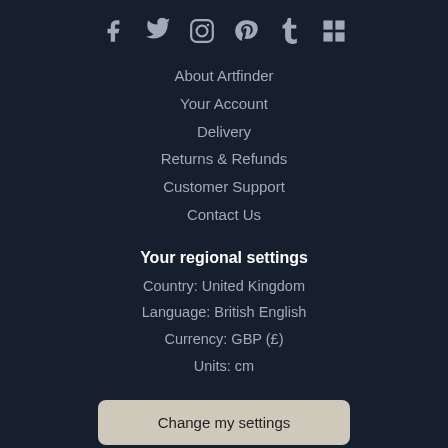[Figure (illustration): Row of social media icons: Facebook, Twitter, Instagram, Pinterest, Tumblr, and one additional icon]
About Artfinder
Your Account
Delivery
Returns & Refunds
Customer Support
Contact Us
Your regional settings
Country: United Kingdom
Language: British English
Currency: GBP (£)
Units: cm
Change my settings